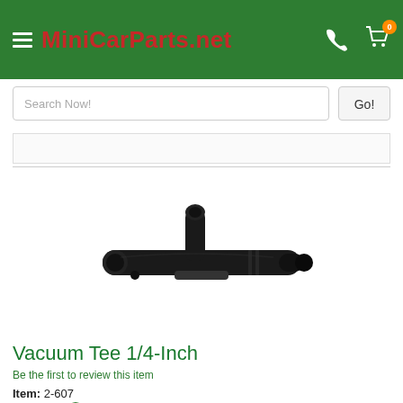MiniCarParts.net
[Figure (screenshot): Search bar with 'Search Now!' placeholder and 'Go!' button on green header background]
[Figure (photo): Black plastic vacuum tee fitting (T-shaped connector) for 1/4-inch hose, shown on white background]
Vacuum Tee 1/4-Inch
Be the first to review this item
Item: 2-607
In Stock: